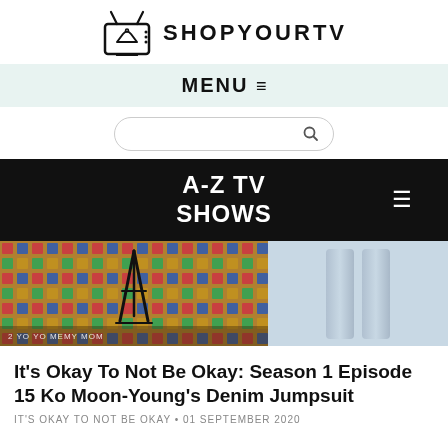[Figure (logo): ShopYourTV logo with TV icon and text SHOPYOURTV]
MENU ≡
[Figure (screenshot): Search bar with magnifying glass icon]
A-Z TV SHOWS
[Figure (photo): Two side-by-side images: left shows a colorful patterned carpet with an easel/stand on it; right shows two denim fabric strips on light blue background]
It's Okay To Not Be Okay: Season 1 Episode 15 Ko Moon-Young's Denim Jumpsuit
IT'S OKAY TO NOT BE OKAY • 01 SEPTEMBER 2020